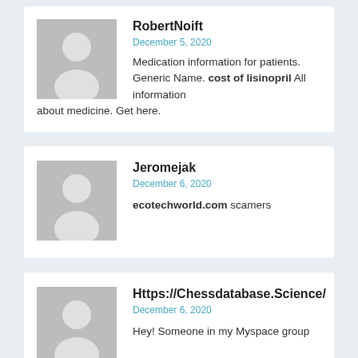RobertNoift
December 5, 2020
Medication information for patients. Generic Name. cost of lisinopril All information about medicine. Get here.
Jeromejak
December 6, 2020
ecotechworld.com scamers
Https://Chessdatabase.Science/
December 6, 2020
Hey! Someone in my Myspace group